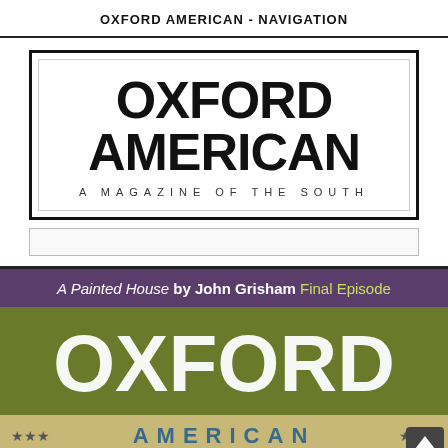OXFORD AMERICAN - NAVIGATION
[Figure (logo): Oxford American magazine logo: large bold black text 'OXFORD AMERICAN' with subtitle 'A MAGAZINE OF THE SOUTH' inside a double border rectangle]
[Figure (photo): Oxford American magazine cover showing: 'A Painted House by John Grisham Final Episode' at top on purple background, large 'OXFORD' text on olive/green background, '*** AMERICAN ***' on tan/beige banner, issue details at bottom. A back-to-top arrow button appears in lower right.]